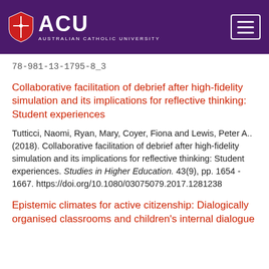ACU AUSTRALIAN CATHOLIC UNIVERSITY
78-981-13-1795-8_3
Collaborative facilitation of debrief after high-fidelity simulation and its implications for reflective thinking: Student experiences
Tutticci, Naomi, Ryan, Mary, Coyer, Fiona and Lewis, Peter A.. (2018). Collaborative facilitation of debrief after high-fidelity simulation and its implications for reflective thinking: Student experiences. Studies in Higher Education. 43(9), pp. 1654 - 1667. https://doi.org/10.1080/03075079.2017.1281238
Epistemic climates for active citizenship: Dialogically organised classrooms and children's internal dialogue